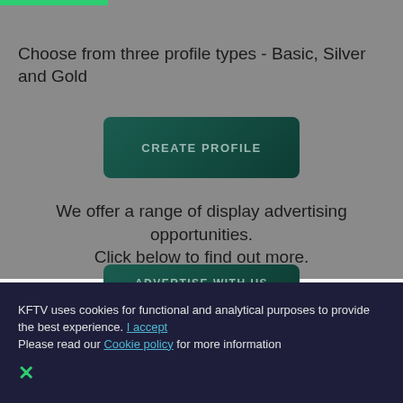Choose from three profile types - Basic, Silver and Gold
[Figure (other): CREATE PROFILE button - dark green gradient rounded rectangle]
We offer a range of display advertising opportunities. Click below to find out more.
[Figure (other): ADVERTISE WITH US button - dark green gradient rounded rectangle]
KFTV uses cookies for functional and analytical purposes to provide the best experience. I accept
Please read our Cookie policy for more information